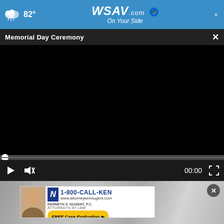82° WSAV.com On Your Side
Memorial Day Ceremony
[Figure (screenshot): Black video player screen, paused, showing Memorial Day Ceremony video with playback controls (play button, mute button, 00:00 timestamp, fullscreen button) and a progress bar at the bottom]
[Figure (photo): Advertisement overlay showing Kenneth S. Nugent, P.C. Attorneys at Law ad with 1-800-CALL-KEN phone number, www.attorneykennugent.com website, and FREE Case Evaluation button, with a close X button]